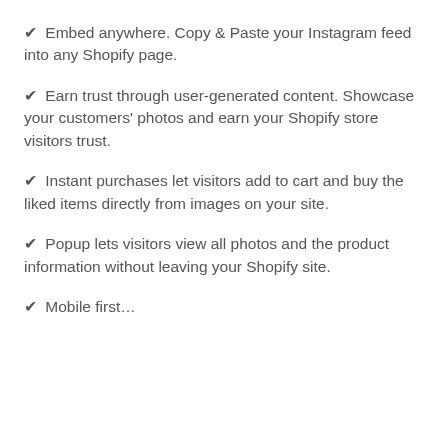✔ Embed anywhere. Copy & Paste your Instagram feed into any Shopify page.
✔ Earn trust through user-generated content. Showcase your customers' photos and earn your Shopify store visitors trust.
✔ Instant purchases let visitors add to cart and buy the liked items directly from images on your site.
✔ Popup lets visitors view all photos and the product information without leaving your Shopify site.
✔ Mobile first...